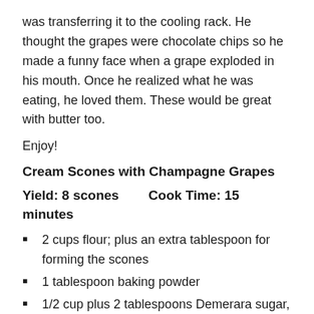was transferring it to the cooling rack.  He thought the grapes were chocolate chips so he made a funny face when a grape exploded in his mouth.  Once he realized what he was eating, he loved them.  These would be great with butter too.
Enjoy!
Cream Scones with Champagne Grapes
Yield:  8 scones        Cook Time:  15 minutes
2 cups flour; plus an extra tablespoon for forming the scones
1 tablespoon baking powder
1/2 cup plus 2 tablespoons Demerara sugar, divided (can substitute regular sugar)
1/8 teaspoon salt